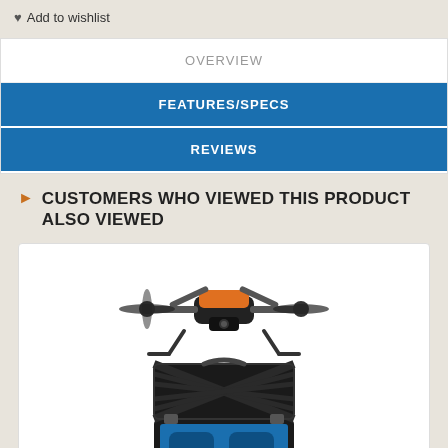♥ Add to wishlist
OVERVIEW
FEATURES/SPECS
REVIEWS
CUSTOMERS WHO VIEWED THIS PRODUCT ALSO VIEWED
[Figure (photo): An orange and black quadcopter drone shown above an open hard-shell carrying case with blue foam interior cutouts]